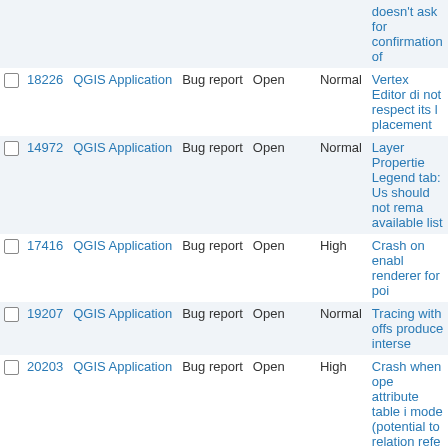|  | # | Project | Type | Status | Priority | Subject |
| --- | --- | --- | --- | --- | --- | --- |
| ☐ | 18226 | QGIS Application | Bug report | Open | Normal | Vertex Editor di not respect its l placement |
| ☐ | 14972 | QGIS Application | Bug report | Open | Normal | Layer Propertie Legend tab: Us should not rema available list |
| ☐ | 17416 | QGIS Application | Bug report | Open | High | Crash on enabl renderer for poi |
| ☐ | 19207 | QGIS Application | Bug report | Open | Normal | Tracing with off produce interse |
| ☐ | 20203 | QGIS Application | Bug report | Open | High | Crash when ope attribute table i mode (potential to relation refe widgets) |
| ☐ | 17890 | QGIS Application | Bug report | Open | Normal | select features select wrong ge layers with defi relations when y from fields in ch |
| ☐ | 21893 | QGIS Application | Bug report | Open | Normal | Selected join is selected |
| ☐ | 18714 | QGIS Application | Bug report | Open | Normal | QGIS crashes w opening a proje joined layers wi in names |
| ☐ | 18457 | QGIS Application | Bug report | Open | Normal | Relationship on |
| ☐ | 15700 | QGIS Application | Bug report | Feedback | Normal | styling dock e |